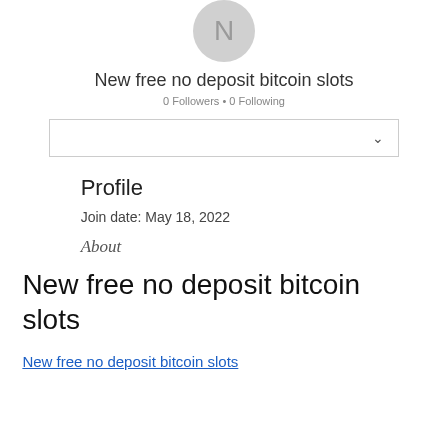[Figure (illustration): Gray circular avatar with letter N]
New free no deposit bitcoin slots
0 Followers • 0 Following
Profile
Join date: May 18, 2022
About
New free no deposit bitcoin slots
New free no deposit bitcoin slots